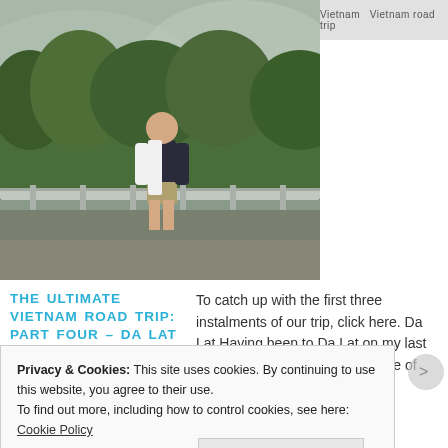[Figure (photo): A man standing on a roadside guardrail with lush green vegetation and misty mountains in the background. Vietnam road trip photo.]
THE ULTIMATE VIETNAM ROAD TRIP: PART FOUR – DA LAT TO NHA TRANG
November 24, 2014
4 Comments
To catch up with the first three instalments of our trip, click here. Da Lat Having been to Da Lat on my last visit to Vietnam, I was well aware of [...]
Privacy & Cookies: This site uses cookies. By continuing to use this website, you agree to their use.
To find out more, including how to control cookies, see here: Cookie Policy
Close and accept